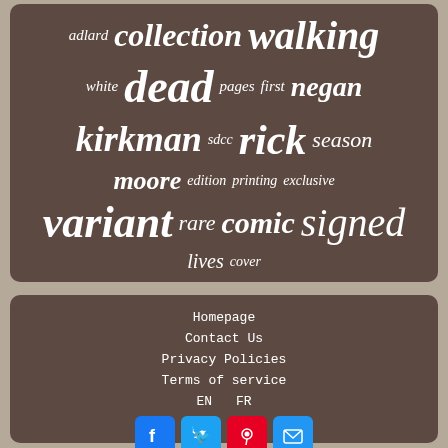[Figure (infographic): Tag cloud on dark brown rounded rectangle background with words: adlard, collection, walking, white, dead, pages, first, negan, kirkman, sdcc, rick, season, moore, edition, printing, exclusive, variant, rare, comic, signed, lives, cover]
Homepage
Contact Us
Privacy Policies
Terms of service
EN  FR
[Figure (infographic): Social media icons row: Facebook (blue), Twitter (blue), Pinterest (red), Email (blue)]